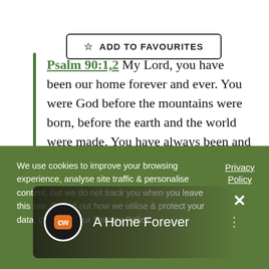☆ ADD TO FAVOURITES
Psalm 90:1,2 My Lord, you have been our home forever and ever. You were God before the mountains were born, before the earth and the world were made. You have always been and will always be God!
[Figure (screenshot): Media thumbnail with CW podcast logo and title 'A Home Forever' on dark background]
We use cookies to improve your browsing experience, analyse site traffic & personalise content, but we do not track you when you leave this site. To find out how we utilise & protect your data, check out our 'Privacy Policy'.
Privacy Policy